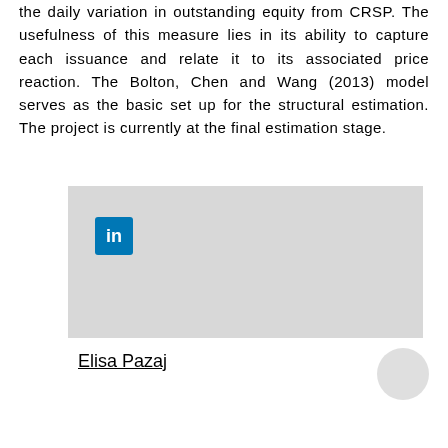the daily variation in outstanding equity from CRSP. The usefulness of this measure lies in its ability to capture each issuance and relate it to its associated price reaction. The Bolton, Chen and Wang (2013) model serves as the basic set up for the structural estimation. The project is currently at the final estimation stage.
[Figure (other): LinkedIn social media embed box with LinkedIn icon in top-left corner on a light gray background]
Elisa Pazaj